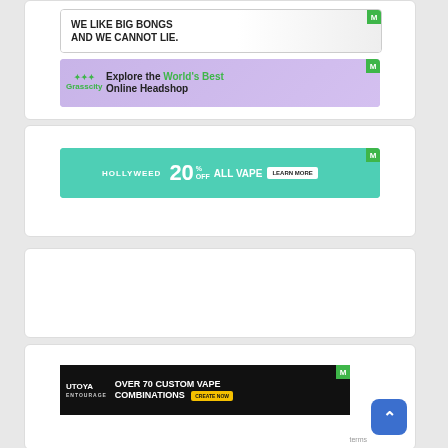[Figure (advertisement): Smoke Cartel banner ad: WE LIKE BIG BONGS AND WE CANNOT LIE. with bong imagery and Smoke Cartel logo]
[Figure (advertisement): Grasscity banner ad: Explore the World's Best Online Headshop, with green Grasscity logo on purple background]
[Figure (advertisement): Hollyweed banner ad on teal background: HOLLYWEED 20% OFF ALL VAPE - LEARN MORE]
[Figure (advertisement): Utoya Entourage banner ad on black background: OVER 70 CUSTOM VAPE COMBINATIONS - CREATE NOW]